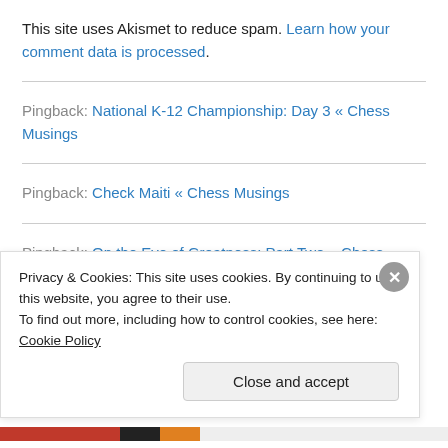This site uses Akismet to reduce spam. Learn how your comment data is processed.
Pingback: National K-12 Championship: Day 3 « Chess Musings
Pingback: Check Maiti « Chess Musings
Pingback: On the Eve of Greatness: Part Two « Chess
Privacy & Cookies: This site uses cookies. By continuing to use this website, you agree to their use. To find out more, including how to control cookies, see here: Cookie Policy
Close and accept